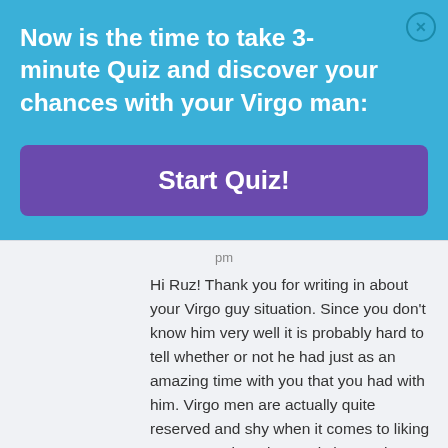Now is the time to take 3-minute Quiz and discover your chances with your Virgo man:
Start Quiz!
pm
Hi Ruz! Thank you for writing in about your Virgo guy situation. Since you don't know him very well it is probably hard to tell whether or not he had just as an amazing time with you that you had with him. Virgo men are actually quite reserved and shy when it comes to liking someone. There is a real chance that he's trying to work up the nerve to talk to you more. If not, he may have